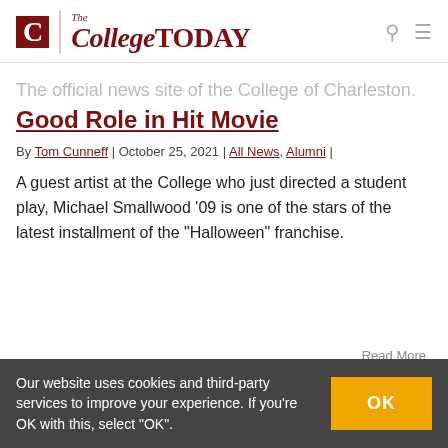The College TODAY — The official news site of the College of Charleston.
Good Role in Hit Movie
By Tom Cunneff | October 25, 2021 | All News, Alumni |
A guest artist at the College who just directed a student play, Michael Smallwood '09 is one of the stars of the latest installment of the "Halloween" franchise.
Read More
Our website uses cookies and third-party services to improve your experience. If you're OK with this, select "OK".